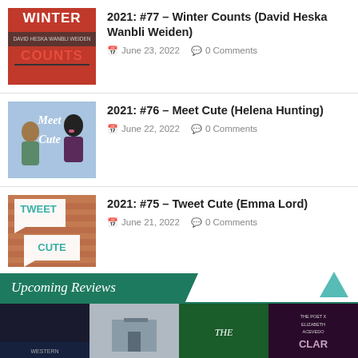2021: #77 – Winter Counts (David Heska Wanbli Weiden)
June 23, 2022  0 Comments
2021: #76 – Meet Cute (Helena Hunting)
June 22, 2022  0 Comments
2021: #75 – Tweet Cute (Emma Lord)
June 21, 2022  0 Comments
Upcoming Reviews
[Figure (photo): Row of upcoming book cover thumbnails partially visible at the bottom]